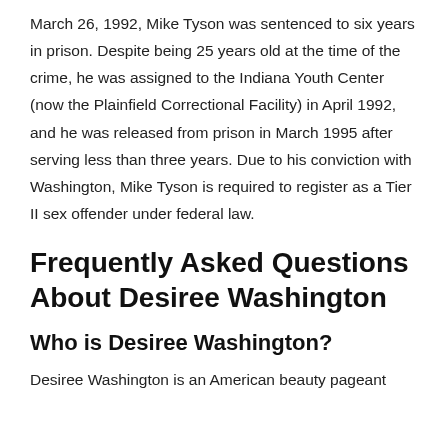March 26, 1992, Mike Tyson was sentenced to six years in prison. Despite being 25 years old at the time of the crime, he was assigned to the Indiana Youth Center (now the Plainfield Correctional Facility) in April 1992, and he was released from prison in March 1995 after serving less than three years. Due to his conviction with Washington, Mike Tyson is required to register as a Tier II sex offender under federal law.
Frequently Asked Questions About Desiree Washington
Who is Desiree Washington?
Desiree Washington is an American beauty pageant